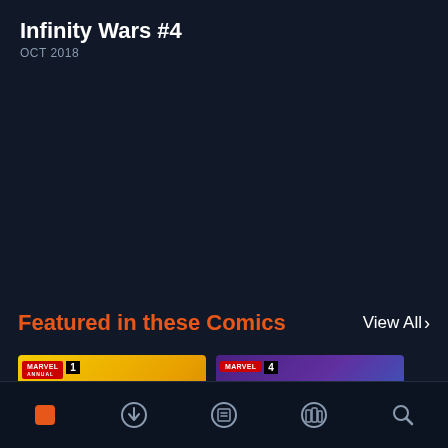Infinity Wars #4
OCT 2018
Featured in these Comics
View All >
[Figure (illustration): Comic book cover: Secret Warps Annual #1 featuring Arach-Knight character on yellow background with action scene]
[Figure (illustration): Comic book cover: Infinity Wars #4 featuring characters on purple/blue background with Infinity Wars logo]